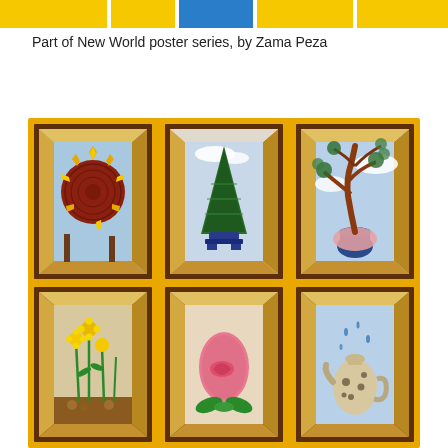[Figure (illustration): Colorful banner strip at top with yellow and blue rectangular color blocks side by side]
Part of New World poster series, by Zama Peza
[Figure (illustration): A 3x2 grid of framed poster artworks by Zama Peza from the New World series. Top row left: a stylized sun with flame-like rays and concentric circle texture in red/orange tones on a light blue sky. Top row center: a tall green conical topiary tree on a blue ornate stand with clouds behind. Top row right: a gnarled red bonsai tree in a blue vase with pink cloth wrapping, blue sky background. Bottom row left: yellow wildflowers and green plants with seed pods on brown ground. Bottom row center: a large pink teardrop/egg-shaped fruit with fish inside, sitting on green leaves. Bottom row right: a decorative spotted vase/teapot with water droplets falling, blue sky. All panels have a golden-yellow outer border and dark brown frame with creamy inner reveal giving a 3D box effect.]